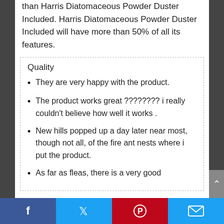than Harris Diatomaceous Powder Duster Included. Harris Diatomaceous Powder Duster Included will have more than 50% of all its features.
Quality
They are very happy with the product.
The product works great ???????? i really couldn't believe how well it works .
New hills popped up a day later near most, though not all, of the fire ant nests where i put the product.
As far as fleas, there is a very good